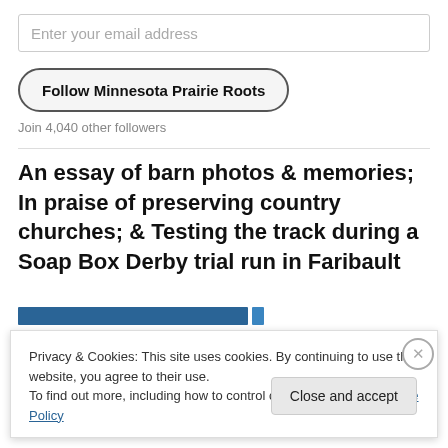Enter your email address
Follow Minnesota Prairie Roots
Join 4,040 other followers
An essay of barn photos & memories; In praise of preserving country churches; & Testing the track during a Soap Box Derby trial run in Faribault
Privacy & Cookies: This site uses cookies. By continuing to use this website, you agree to their use.
To find out more, including how to control cookies, see here: Cookie Policy
Close and accept